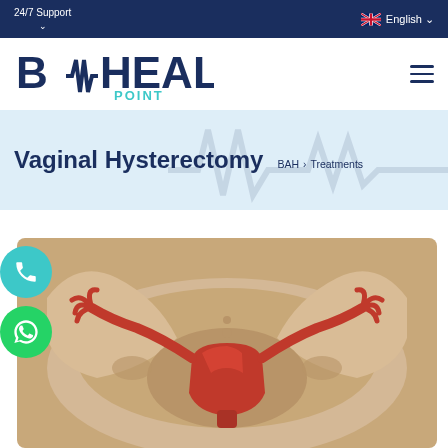24/7 Support | English
[Figure (logo): BA Health Point logo with heartbeat line integrated into letters]
Vaginal Hysterectomy
BAH > Treatments
[Figure (illustration): Medical 3D illustration of female reproductive anatomy showing uterus, fallopian tubes, and ovaries in a pelvis bone structure]